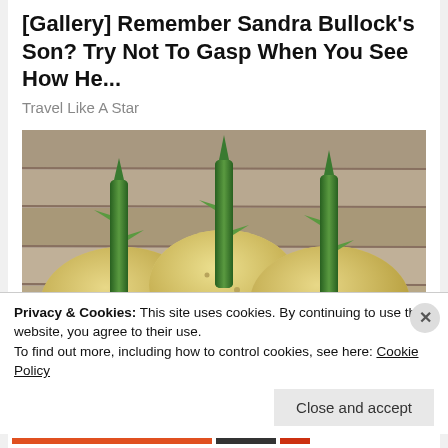[Gallery] Remember Sandra Bullock's Son? Try Not To Gasp When You See How He...
Travel Like A Star
[Figure (photo): Three potatoes with green rose stems pushed into them, sitting on a wooden surface in sunlight]
Privacy & Cookies: This site uses cookies. By continuing to use this website, you agree to their use.
To find out more, including how to control cookies, see here: Cookie Policy
Close and accept